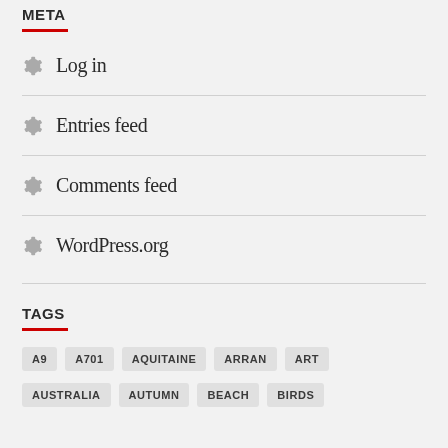META
Log in
Entries feed
Comments feed
WordPress.org
TAGS
A9
A701
AQUITAINE
ARRAN
ART
AUSTRALIA
AUTUMN
BEACH
BIRDS